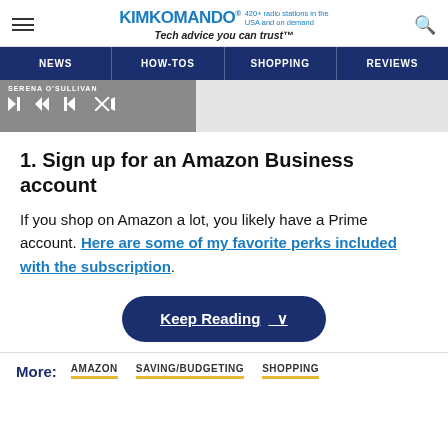KIMKOMANDO® 420+ radio stations in the USA and on demand Tech advice you can trust™
NEWS | HOW-TOS | SHOPPING | REVIEWS
[Figure (screenshot): Audio player bar with name SERENA O'SULLIVAN, play controls (skip back, play, skip forward), and mute button on gray background]
1. Sign up for an Amazon Business account
If you shop on Amazon a lot, you likely have a Prime account. Here are some of my favorite perks included with the subscription.
Keep Reading ∨
More: AMAZON  SAVING/BUDGETING  SHOPPING